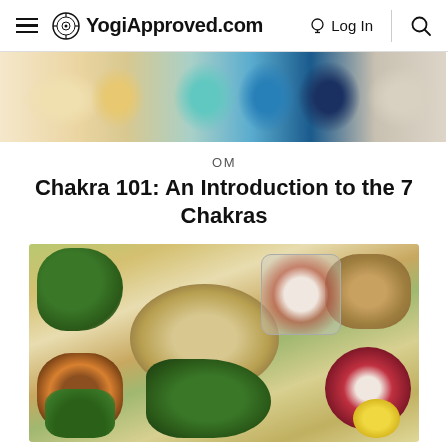YogiApproved.com  Log In
[Figure (photo): Colorful healing crystals and stones arranged on a white surface, top portion of chakra article banner image]
OM
Chakra 101: An Introduction to the 7 Chakras
[Figure (photo): Overhead flat lay of various healthy foods including avocado, oats, nuts, seeds, beans, spinach, dried fruits, and grains in bowls on a white surface]